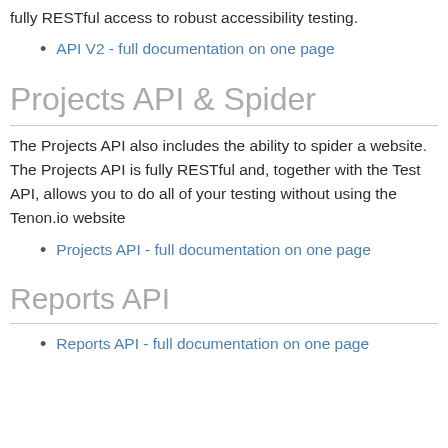fully RESTful access to robust accessibility testing.
API V2 - full documentation on one page
Projects API & Spider
The Projects API also includes the ability to spider a website. The Projects API is fully RESTful and, together with the Test API, allows you to do all of your testing without using the Tenon.io website
Projects API - full documentation on one page
Reports API
Reports API - full documentation on one page